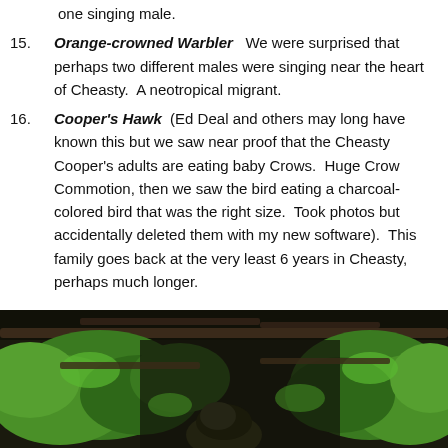one singing male.
15. Orange-crowned Warbler   We were surprised that perhaps two different males were singing near the heart of Cheasty.  A neotropical migrant.
16. Cooper's Hawk  (Ed Deal and others may long have known this but we saw near proof that the Cheasty Cooper's adults are eating baby Crows.  Huge Crow Commotion, then we saw the bird eating a charcoal-colored bird that was the right size.  Took photos but accidentally deleted them with my new software).  This family goes back at the very least 6 years in Cheasty, perhaps much longer.
[Figure (photo): Photograph showing a bird partially visible through green foliage and branches, dark background with green leaves.]